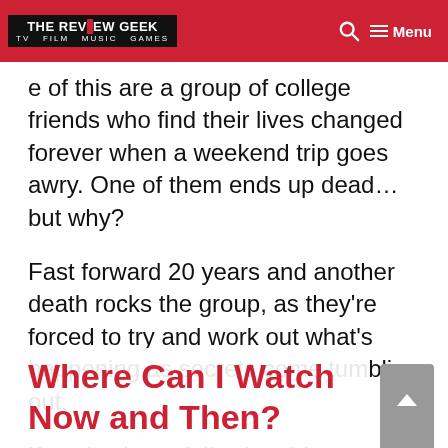THE REVIEW GEEK | TV FILM MUSIC GAMES | Menu
e of this are a group of college friends who find their lives changed forever when a weekend trip goes awry. One of them ends up dead… but why?
Fast forward 20 years and another death rocks the group, as they're forced to try and work out what's happening as secrets come tumbling out.
If you've been following this one over the weeks, you may be curious to find out when the next episode is releasing. Well, wonder no more!
Here is everything you need to know about Now and Then episode 4 including its release date, time and where you can watch this.
Where Can I Watch Now and Then?